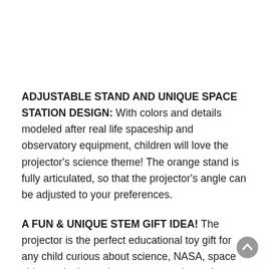ADJUSTABLE STAND AND UNIQUE SPACE STATION DESIGN: With colors and details modeled after real life spaceship and observatory equipment, children will love the projector's science theme! The orange stand is fully articulated, so that the projector's angle can be adjusted to your preferences.
A FUN & UNIQUE STEM GIFT IDEA! The projector is the perfect educational toy gift for any child curious about science, NASA, space ships, galaxies, solar systems, and more! Entertain AND educate with the Discovery Kids Planetarium Space Projector!